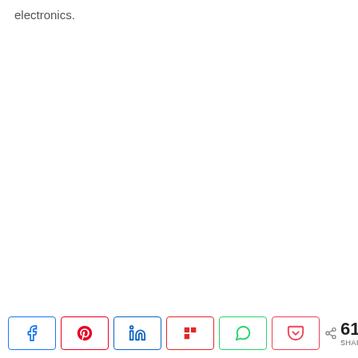electronics.
Social share bar with 612 SHARES. Buttons: Facebook, Pinterest, LinkedIn, Flipboard, WhatsApp, Pocket